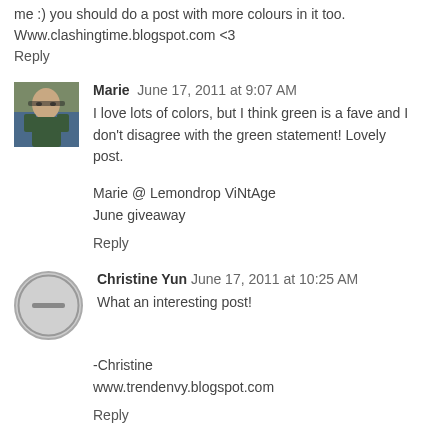me :) you should do a post with more colours in it too. Www.clashingtime.blogspot.com <3
Reply
Marie   June 17, 2011 at 9:07 AM
I love lots of colors, but I think green is a fave and I don't disagree with the green statement! Lovely post.
Marie @ Lemondrop ViNtAge
June giveaway
Reply
Christine Yun  June 17, 2011 at 10:25 AM
What an interesting post!
-Christine
www.trendenvy.blogspot.com
Reply